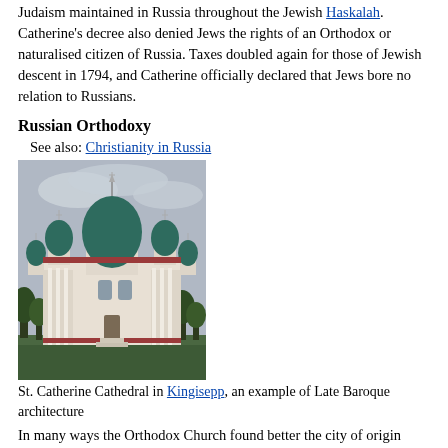Judaism maintained in Russia throughout the Jewish Haskalah. Catherine's decree also denied Jews the rights of an Orthodox or naturalised citizen of Russia. Taxes doubled again for those of Jewish descent in 1794, and Catherine officially declared that Jews bore no relation to Russians.
Russian Orthodoxy
See also: Christianity in Russia
[Figure (photo): St. Catherine Cathedral in Kingisepp, a white baroque church with green domes against a grey sky, surrounded by trees]
St. Catherine Cathedral in Kingisepp, an example of Late Baroque architecture
In many ways the Orthodox Church found better the city of origin